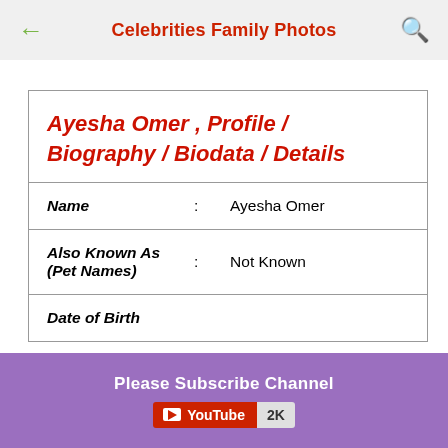Celebrities Family Photos
Ayesha Omer , Profile / Biography / Biodata / Details
| Field | : | Value |
| --- | --- | --- |
| Name | : | Ayesha Omer |
| Also Known As (Pet Names) | : | Not Known |
| Date of Birth | : |  |
Please Subscribe Channel